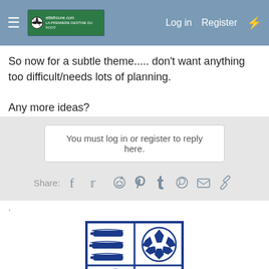≡  [banner logo]  Log in   Register  ⚡
So now for a subtle theme..... don't want anything too difficult/needs lots of planning.

Any more ideas?
You must log in or register to reply here.
Share: [facebook] [twitter] [reddit] [pinterest] [tumblr] [whatsapp] [mail] [link]
.
[Figure (logo): Southend United football club crest/badge showing shield divided into four quarters: top-left with three horizontal wavy banners, top-right with a football, bottom-left with a shrimp, bottom-right with three wavy lines (water). Banner at bottom reads SOUTHEND UNITED. Drawn in dark blue on white.]